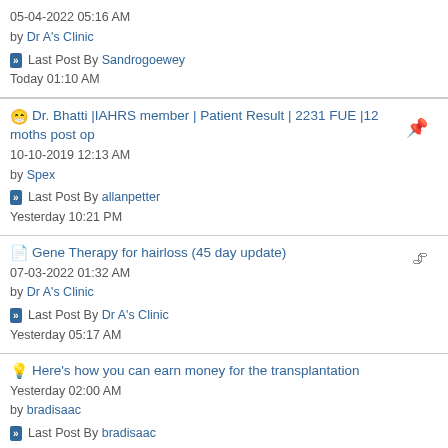05-04-2022 05:16 AM by Dr A's Clinic | Last Post By Sandrogoewey Today 01:10 AM
Dr. Bhatti |IAHRS member | Patient Result | 2231 FUE |12 moths post op 10-10-2019 12:13 AM by Spex | Last Post By allanpetter Yesterday 10:21 PM
Gene Therapy for hairloss (45 day update) 07-03-2022 01:32 AM by Dr A's Clinic | Last Post By Dr A's Clinic Yesterday 05:17 AM
Here's how you can earn money for the transplantation Yesterday 02:00 AM by bradisaac | Last Post By bradisaac Yesterday 02:00 AM
Does it make sense that all my hair under my chin is double follicle? 08-18-2022 05:20 PM